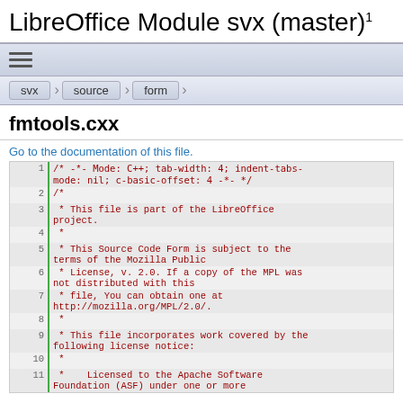LibreOffice Module svx (master) 1
[Figure (screenshot): Navigation bar with hamburger menu icon]
svx / source / form
fmtools.cxx
Go to the documentation of this file.
1  /* -*- Mode: C++; tab-width: 4; indent-tabs-mode: nil; c-basic-offset: 4 -*- */
2  /*
3   * This file is part of the LibreOffice project.
4   *
5   * This Source Code Form is subject to the terms of the Mozilla Public
6   * License, v. 2.0. If a copy of the MPL was not distributed with this
7   * file, You can obtain one at http://mozilla.org/MPL/2.0/.
8   *
9   * This file incorporates work covered by the following license notice:
10  *
11  *    Licensed to the Apache Software Foundation (ASF) under one or more